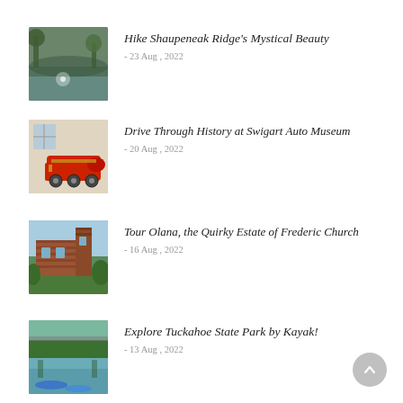[Figure (photo): Outdoor nature scene with water and trees reflecting light]
Hike Shaupeneak Ridge's Mystical Beauty
- 23 Aug , 2022
[Figure (photo): Vintage red locomotive or antique car in a museum setting]
Drive Through History at Swigart Auto Museum
- 20 Aug , 2022
[Figure (photo): Brick building historic estate surrounded by green trees]
Tour Olana, the Quirky Estate of Frederic Church
- 16 Aug , 2022
[Figure (photo): River or lake with green trees and blue kayaks visible]
Explore Tuckahoe State Park by Kayak!
- 13 Aug , 2022